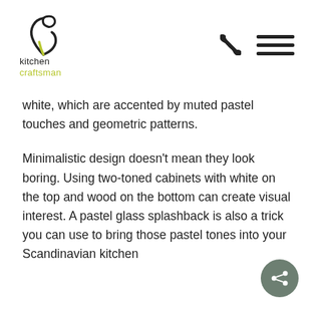[Figure (logo): Kitchen Craftsman logo: stylized spoon/spatula icon in dark color with 'kitchen' in dark and 'craftsman' in olive/yellow-green text below]
[Figure (infographic): Phone icon and hamburger menu icon (three horizontal lines) in the top right navigation area]
white, which are accented by muted pastel touches and geometric patterns.
Minimalistic design doesn't mean they look boring. Using two-toned cabinets with white on the top and wood on the bottom can create visual interest. A pastel glass splashback is also a trick you can use to bring those pastel tones into your Scandinavian kitchen